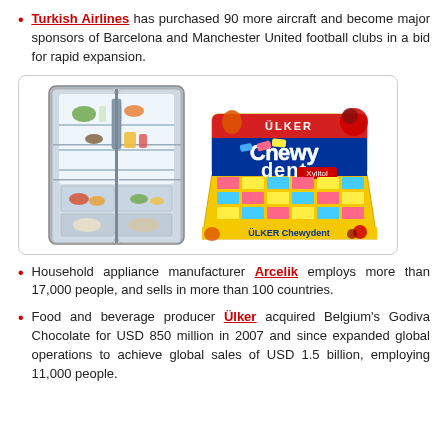Turkish Airlines has purchased 90 more aircraft and become major sponsors of Barcelona and Manchester United football clubs in a bid for rapid expansion.
[Figure (photo): Two product images side by side: an open French-door refrigerator (Arcelik/Beko style) showing food inside, and a Ülker Chewy Dent gum display box.]
Household appliance manufacturer Arcelik employs more than 17,000 people, and sells in more than 100 countries.
Food and beverage producer Ülker acquired Belgium's Godiva Chocolate for USD 850 million in 2007 and since expanded global operations to achieve global sales of USD 1.5 billion, employing 11,000 people.